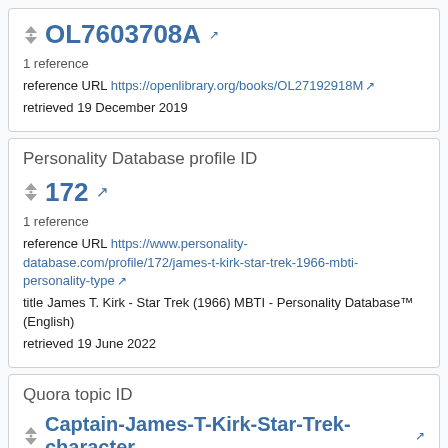OL7603708A [external link]
1 reference
reference URL https://openlibrary.org/books/OL27192918M [external link]
retrieved 19 December 2019
Personality Database profile ID
172 [external link]
1 reference
reference URL https://www.personality-database.com/profile/172/james-t-kirk-star-trek-1966-mbti-personality-type [external link]
title James T. Kirk - Star Trek (1966) MBTI - Personality Database™ (English)
retrieved 19 June 2022
Quora topic ID
Captain-James-T-Kirk-Star-Trek-character [external link]
1 reference